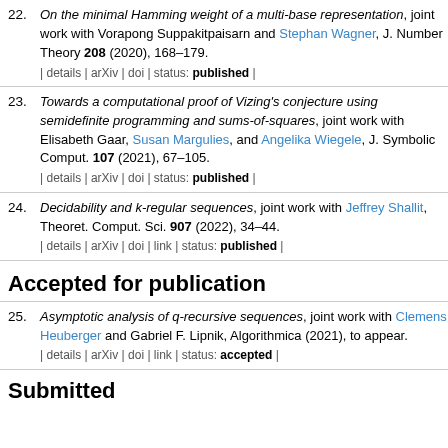22. On the minimal Hamming weight of a multi-base representation, joint work with Vorapong Suppakitpaisarn and Stephan Wagner, J. Number Theory 208 (2020), 168–179. | details | arXiv | doi | status: published |
23. Towards a computational proof of Vizing's conjecture using semidefinite programming and sums-of-squares, joint work with Elisabeth Gaar, Susan Margulies, and Angelika Wiegele, J. Symbolic Comput. 107 (2021), 67–105. | details | arXiv | doi | status: published |
24. Decidability and k-regular sequences, joint work with Jeffrey Shallit, Theoret. Comput. Sci. 907 (2022), 34–44. | details | arXiv | doi | link | status: published |
Accepted for publication
25. Asymptotic analysis of q-recursive sequences, joint work with Clemens Heuberger and Gabriel F. Lipnik, Algorithmica (2021), to appear. | details | arXiv | doi | link | status: accepted |
Submitted